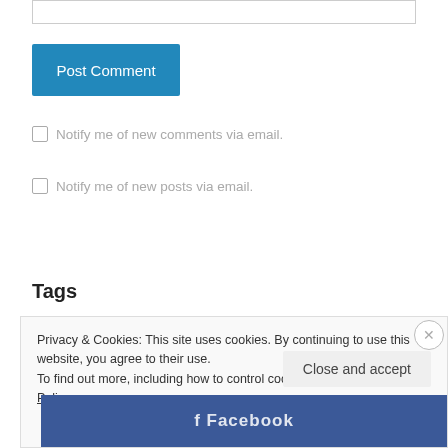[Figure (screenshot): Text input box at top of page]
Post Comment
Notify me of new comments via email.
Notify me of new posts via email.
Tags
Privacy & Cookies: This site uses cookies. By continuing to use this website, you agree to their use.
To find out more, including how to control cookies, see here: Cookie Policy
Close and accept